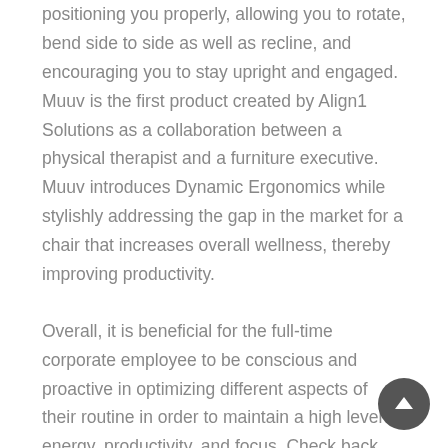positioning you properly, allowing you to rotate, bend side to side as well as recline, and encouraging you to stay upright and engaged. Muuv is the first product created by Align1 Solutions as a collaboration between a physical therapist and a furniture executive. Muuv introduces Dynamic Ergonomics while stylishly addressing the gap in the market for a chair that increases overall wellness, thereby improving productivity.
Overall, it is beneficial for the full-time corporate employee to be conscious and proactive in optimizing different aspects of their routine in order to maintain a high level of energy, productivity, and focus. Check back soon for the next top 5 latest and greatest inventions that can elevate your living experience.